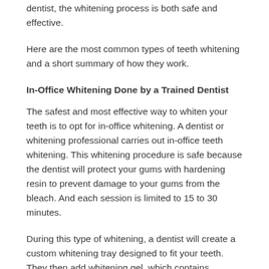dentist, the whitening process is both safe and effective.
Here are the most common types of teeth whitening and a short summary of how they work.
In-Office Whitening Done by a Trained Dentist
The safest and most effective way to whiten your teeth is to opt for in-office whitening. A dentist or whitening professional carries out in-office teeth whitening. This whitening procedure is safe because the dentist will protect your gums with hardening resin to prevent damage to your gums from the bleach. And each session is limited to 15 to 30 minutes.
During this type of whitening, a dentist will create a custom whitening tray designed to fit your teeth. They then add whitening gel, which contains hydrogen or carbamide peroxide, and place the tray onto your teeth. Dentists ensure that they reach every part of your teeth by using a cheek retractor to expose every part of your teeth.
The bleaching gel breaks up the staining molecules in and